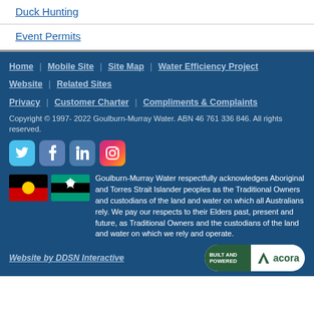Duck Hunting
Event Permits
Home | Mobile Site | Site Map | Water Efficiency Project Website | Related Sites
Privacy | Customer Charter | Compliments & Complaints
Copyright © 1997- 2022 Goulburn-Murray Water. ABN 46 761 336 846. All rights reserved.
[Figure (other): Social media icons: Twitter, Facebook, LinkedIn, Instagram]
[Figure (other): Aboriginal flag and Torres Strait Islander flag]
Goulburn-Murray Water respectfully acknowledges Aboriginal and Torres Strait Islander peoples as the Traditional Owners and custodians of the land and water on which all Australians rely. We pay our respects to their Elders past, present and future, as Traditional Owners and the custodians of the land and water on which we rely and operate.
Website by DDSN Interactive
[Figure (logo): Built and Powered by acora logo badge]